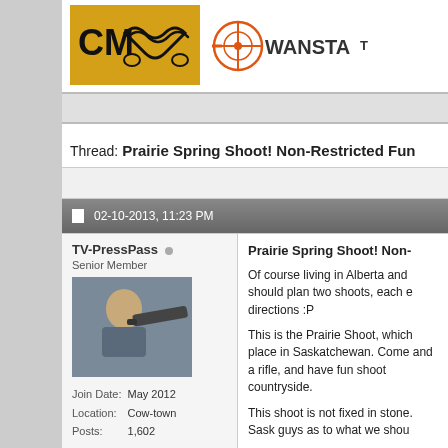[Figure (logo): CM logo with mustache on yellow background and Wanstalls logo with target/crosshair]
Thread: Prairie Spring Shoot! Non-Restricted Fun
02-10-2013, 11:23 PM
TV-PressPass
Senior Member
Join Date: May 2012
Location: Cow-town
Posts: 1,602
Prairie Spring Shoot! Non-

Of course living in Alberta and should plan two shoots, each e directions :P

This is the Prairie Shoot, which place in Saskatchewan. Come and a rifle, and have fun shoot countryside.

This shoot is not fixed in stone. Sask guys as to what we shou

Location: Personally I would...